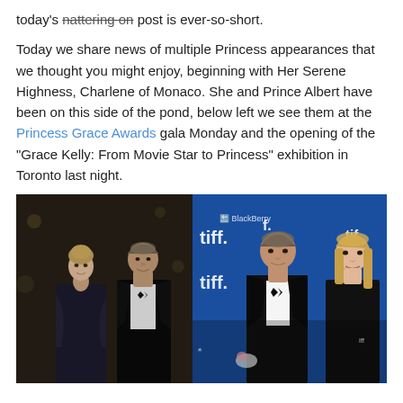today's nattering on post is ever-so-short.
Today we share news of multiple Princess appearances that we thought you might enjoy, beginning with Her Serene Highness, Charlene of Monaco. She and Prince Albert have been on this side of the pond, below left we see them at the Princess Grace Awards gala Monday and the opening of the "Grace Kelly: From Movie Star to Princess" exhibition in Toronto last night.
[Figure (photo): Two side-by-side photos. Left: Charlene and Prince Albert at a formal gala event, dark background, she in a dark gown, he in a tuxedo. Right: Charlene and Prince Albert at the TIFF (Toronto International Film Festival) event with BlackBerry sponsor backdrop, blue background.]